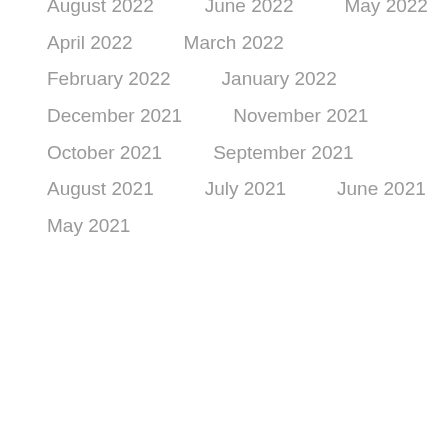August 2022
June 2022
May 2022
April 2022
March 2022
February 2022
January 2022
December 2021
November 2021
October 2021
September 2021
August 2021
July 2021
June 2021
May 2021